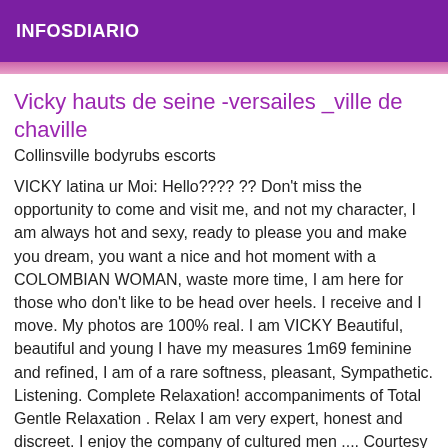INFOSDIARIO
Vicky hauts de seine -versailes _ville de chaville
Collinsville bodyrubs escorts
VICKY latina ur Moi: Hello???? ?? Don't miss the opportunity to come and visit me, and not my character, I am always hot and sexy, ready to please you and make you dream, you want a nice and hot moment with a COLOMBIAN WOMAN, waste more time, I am here for those who don't like to be head over heels. I receive and I move. My photos are 100% real. I am VICKY Beautiful, beautiful and young I have my measures 1m69 feminine and refined, I am of a rare softness, pleasant, Sympathetic. Listening. Complete Relaxation! accompaniments of Total Gentle Relaxation . Relax I am very expert, honest and discreet. I enjoy the company of cultured men .... Courtesy and respect for others are the